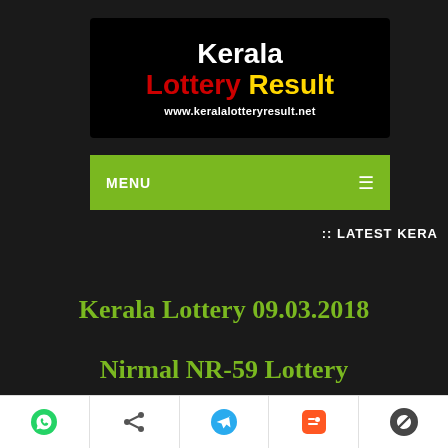[Figure (logo): Kerala Lottery Result banner logo with text 'Kerala Lottery Result' and URL www.keralalotteryresult.net on black background]
[Figure (screenshot): Green navigation menu bar with MENU label and hamburger icon]
:: LATEST KERA
Kerala Lottery 09.03.2018
Nirmal NR-59 Lottery
[Figure (infographic): Bottom share bar with social icons: WhatsApp, Share, Telegram, Blogger, WordPress]